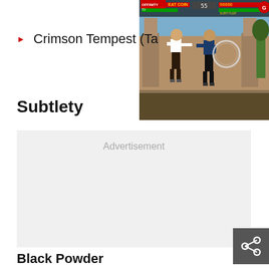Crimson Tempest (Ta...
[Figure (screenshot): Video game screenshot showing two fighting characters in a courtyard setting with HUD overlay showing health bars and scores. Labels include OFFINITY TV, EAT COIN, and score displays.]
Subtlety
Advertisement
Black Powder